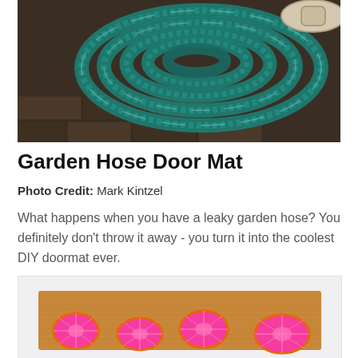[Figure (photo): A coiled teal/green garden hose resting on dark brick/stone pavers, viewed from above.]
Garden Hose Door Mat
Photo Credit: Mark Kintzel
What happens when you have a leaky garden hose? You definitely don't throw it away - you turn it into the coolest DIY doormat ever.
[Figure (photo): A tan coir doormat with painted orange and pink citrus slice designs arranged in a row.]